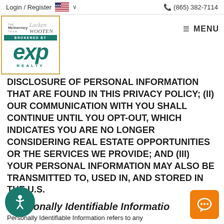Login / Register  (865) 382-7114
[Figure (logo): McInerney Team / Wooten, Brokered by eXp Realty logo in teal and gold border]
DISCLOSURE OF PERSONAL INFORMATION THAT ARE FOUND IN THIS PRIVACY POLICY; (ii) OUR COMMUNICATION WITH YOU SHALL CONTINUE UNTIL YOU OPT-OUT, WHICH INDICATES YOU ARE NO LONGER CONSIDERING REAL ESTATE OPPORTUNITIES OR THE SERVICES WE PROVIDE; AND (iii) YOUR PERSONAL INFORMATION MAY ALSO BE TRANSMITTED TO, USED IN, AND STORED IN THE U.S.
"Personally Identifiable Informatio
Personally Identifiable Information refers to any